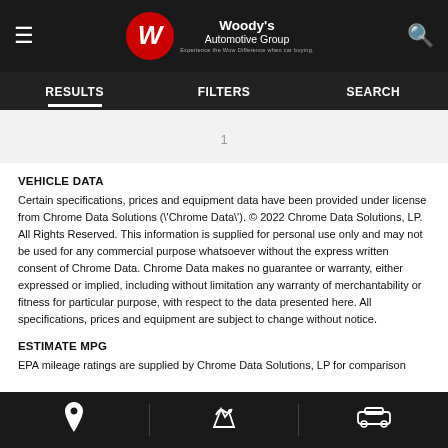Woody's Automotive Group — Results | Filters | Search
1
VEHICLE DATA
Certain specifications, prices and equipment data have been provided under license from Chrome Data Solutions (\'Chrome Data\'). © 2022 Chrome Data Solutions, LP. All Rights Reserved. This information is supplied for personal use only and may not be used for any commercial purpose whatsoever without the express written consent of Chrome Data. Chrome Data makes no guarantee or warranty, either expressed or implied, including without limitation any warranty of merchantability or fitness for particular purpose, with respect to the data presented here. All specifications, prices and equipment are subject to change without notice.
ESTIMATE MPG
EPA mileage ratings are supplied by Chrome Data Solutions, LP for comparison
Location | Service | Vehicle